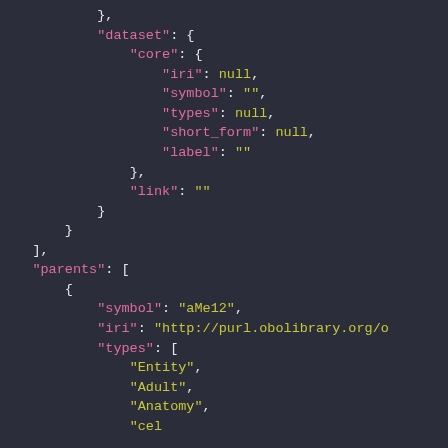JSON code snippet showing dataset and parents structure with fields: core (iri, symbol, types, short_form, label), link, and parents array with symbol aMe12, iri http://purl.obolibrary.org/o, types [Entity, Adult, Anatomy, ...]